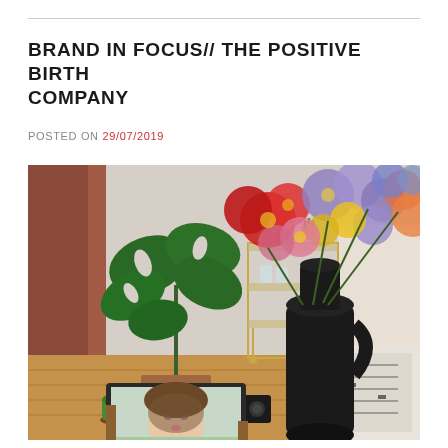BRAND IN FOCUS// THE POSITIVE BIRTH COMPANY
POSTED ON 29/07/2019
[Figure (photo): A home interior scene showing a desk or table with a black vase holding a large colorful flower bouquet (red, purple, orange, yellow blooms), a laptop/tablet showing a woman's face, a lit candle, and in the background a gold bar cart and large tropical monstera plant in terracotta pots.]